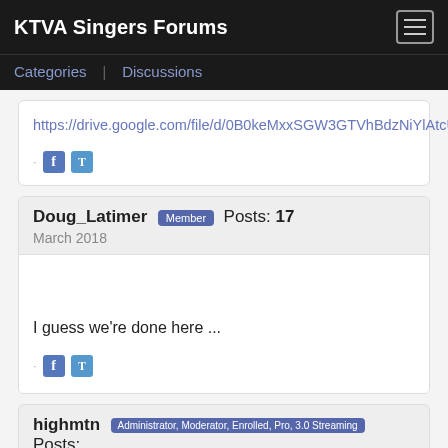KTVA Singers Forums
Categories   Discussions
https://drive.google.com/file/d/0B0keMxxSGW3GTVhBdzNiYlAtcUE/view
Doug_Latimer Member Posts: 17
March 2018
I guess we're done here ...
highmtn Administrator, Moderator, Enrolled, Pro, 3.0 Streaming Posts: